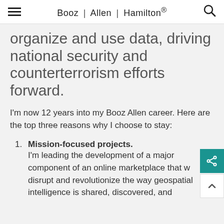Booz | Allen | Hamilton®
organize and use data, driving national security and counterterrorism efforts forward.
I'm now 12 years into my Booz Allen career. Here are the top three reasons why I choose to stay:
1. Mission-focused projects. I'm leading the development of a major component of an online marketplace that w disrupt and revolutionize the way geospatial intelligence is shared, discovered, and